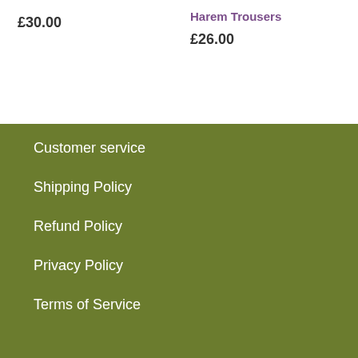£30.00
Harem Trousers
£26.00
Customer service
Shipping Policy
Refund Policy
Privacy Policy
Terms of Service